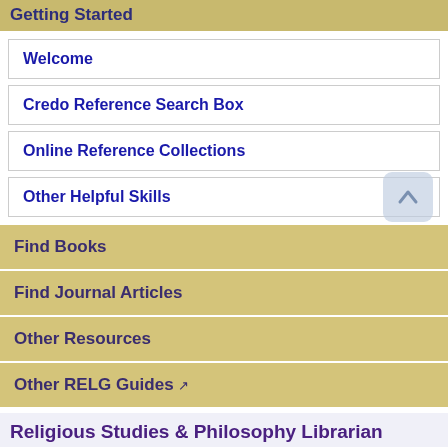Getting Started
Welcome
Credo Reference Search Box
Online Reference Collections
Other Helpful Skills
Find Books
Find Journal Articles
Other Resources
Other RELG Guides
Religious Studies & Philosophy Librarian
[Figure (photo): Photo of the Religious Studies & Philosophy Librarian]